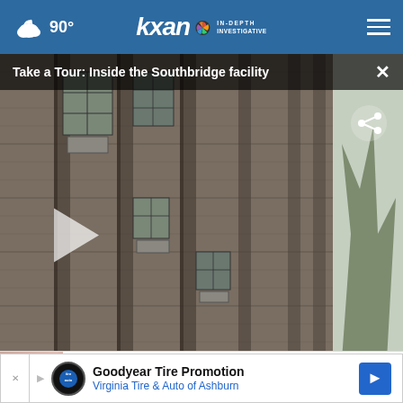90° kxan IN-DEPTH INVESTIGATIVE
[Figure (screenshot): KXAN news website screenshot showing a video player with a building facade (Southbridge facility), with navigation bar at top showing weather (90°) and KXAN logo, video title bar reading 'Take a Tour: Inside the Southbridge facility', play button and share icon visible, and news cards at the bottom including a Goodyear Tire Promotion advertisement.]
Take a Tour: Inside the Southbridge facility
drinking water
News • 1 day ago
Goodyear Tire Promotion Virginia Tire & Auto of Ashburn